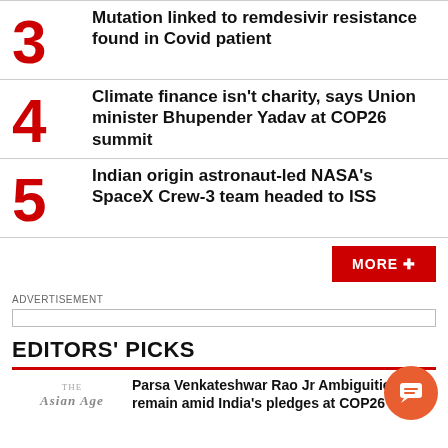3 Mutation linked to remdesivir resistance found in Covid patient
4 Climate finance isn't charity, says Union minister Bhupender Yadav at COP26 summit
5 Indian origin astronaut-led NASA's SpaceX Crew-3 team headed to ISS
MORE +
ADVERTISEMENT
EDITORS' PICKS
Parsa Venkateshwar Rao Jr Ambiguities remain amid India's pledges at COP26